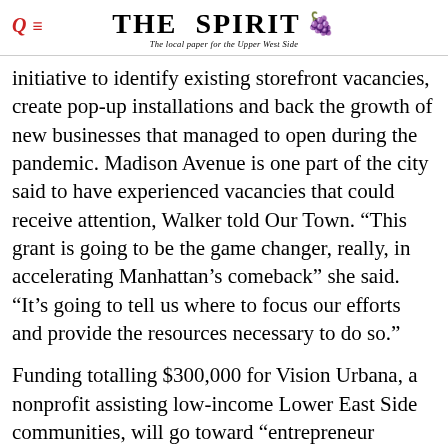THE SPIRIT — The local paper for the Upper West Side
initiative to identify existing storefront vacancies, create pop-up installations and back the growth of new businesses that managed to open during the pandemic. Madison Avenue is one part of the city said to have experienced vacancies that could receive attention, Walker told Our Town. “This grant is going to be the game changer, really, in accelerating Manhattan’s comeback” she said. “It’s going to tell us where to focus our efforts and provide the resources necessary to do so.”
Funding totalling $300,000 for Vision Urbana, a nonprofit assisting low-income Lower East Side communities, will go toward “entrepreneur training” and other work-related services for NYCHA residents. The AIDS Service Center of Lower Manhattan was